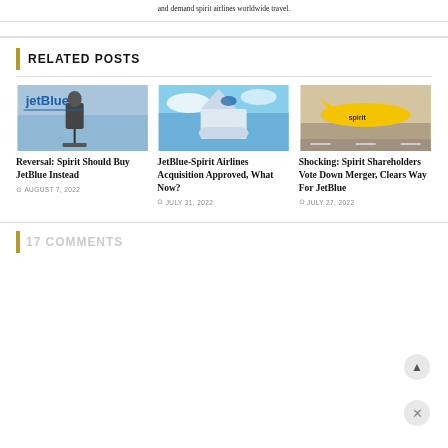and demand spirit airlines worldwide travel.
RELATED POSTS
[Figure (photo): Person speaking at podium in front of JetBlue sign]
Reversal: Spirit Should Buy JetBlue Instead
AUGUST 7, 2022
[Figure (photo): JetBlue aircraft tail and wing close-up]
JetBlue-Spirit Airlines Acquisition Approved, What Now?
JULY 31, 2022
[Figure (photo): Spirit Airlines yellow airplane landing or taking off]
Shocking: Spirit Shareholders Vote Down Merger, Clears Way For JetBlue
JULY 27, 2022
17 COMMENTS